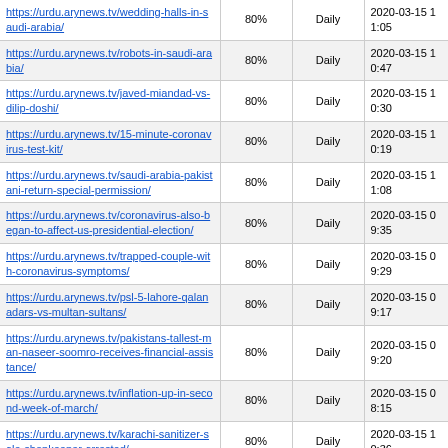| https://urdu.arynews.tv/wedding-halls-in-saudi-arabia/ | 80% | Daily | 2020-03-15 11:05 |
| https://urdu.arynews.tv/robots-in-saudi-arabia/ | 80% | Daily | 2020-03-15 10:47 |
| https://urdu.arynews.tv/javed-miandad-vs-dilip-doshi/ | 80% | Daily | 2020-03-15 10:30 |
| https://urdu.arynews.tv/15-minute-coronavirus-test-kit/ | 80% | Daily | 2020-03-15 10:19 |
| https://urdu.arynews.tv/saudi-arabia-pakistani-return-special-permission/ | 80% | Daily | 2020-03-15 11:08 |
| https://urdu.arynews.tv/coronavirus-also-began-to-affect-us-presidential-election/ | 80% | Daily | 2020-03-15 09:35 |
| https://urdu.arynews.tv/trapped-couple-with-coronavirus-symptoms/ | 80% | Daily | 2020-03-15 09:29 |
| https://urdu.arynews.tv/psl-5-lahore-qalanadars-vs-multan-sultans/ | 80% | Daily | 2020-03-15 09:17 |
| https://urdu.arynews.tv/pakistans-tallest-man-naseer-soomro-receives-financial-assistance/ | 80% | Daily | 2020-03-15 09:20 |
| https://urdu.arynews.tv/inflation-up-in-second-week-of-march/ | 80% | Daily | 2020-03-15 08:15 |
| https://urdu.arynews.tv/karachi-sanitizer-sale-shopkeeper-arrested/ | 80% | Daily | 2020-03-15 10:36 |
| https://urdu.arynews.tv/death-toll-reached-5839-by-coronavirus/ | 80% | Daily | 2020-03-15 07:53 |